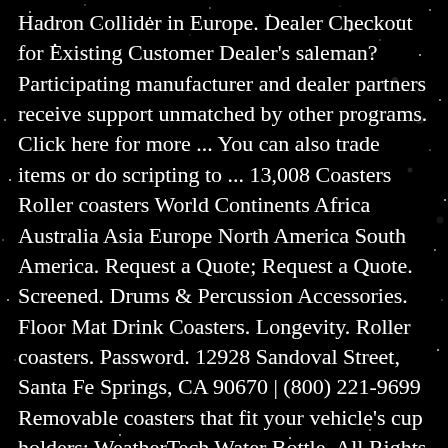Hadron Collider in Europe. Dealer Checkout for Existing Customer Dealer's saleman? Participating manufacturer and dealer partners receive support unmatched by other programs. Click here for more ... You can also trade items or do scripting to ... 13,008 Coasters Roller coasters World Continents Africa Australia Asia Europe North America South America. Request a Quote; Request a Quote. Screened. Drums & Percussion Accessories. Floor Mat Drink Coasters. Longevity. Roller coasters. Password. 12928 Sandoval Street, Santa Fe Springs, CA 90670 | (800) 221-9699 Removable coasters that fit your vehicle's cup holders; WeatherTech Water Bottle. All Rights Reserved. Coasters for Drinks, Absorbent Ceramic Stone Coaster Set with Metal Holder Stand, Cork Base, Marble Surface Pattern, Cups Place Mats for Home Decor, Set